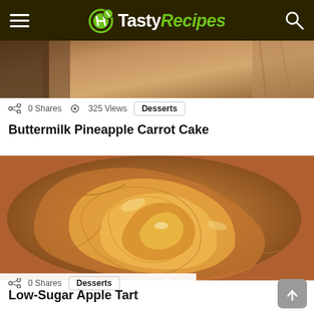Tasty Recipes
[Figure (photo): Partial photo of Buttermilk Pineapple Carrot Cake, cropped at top]
0 Shares  325 Views  Desserts
Buttermilk Pineapple Carrot Cake
[Figure (photo): Close-up photo of a Low-Sugar Apple Tart showing spiral pattern of thinly sliced caramelized apples]
0 Shares  Desserts
Low-Sugar Apple Tart